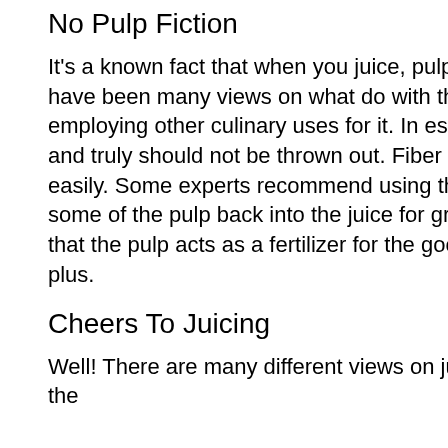No Pulp Fiction
It's a known fact that when you juice, pulp remains in the juicer. Over the years there have been many views on what do with that pulp and why. From just discarding it to employing other culinary uses for it. In essence, that pulp contains high levels of fiber and truly should not be thrown out. Fiber has too many benefits to simply dismiss it so easily. Some experts recommend using the pulp in food and others suggest putting some of the pulp back into the juice for greater health rewards. What I can tell you is that the pulp acts as a fertilizer for the good bacteria in the colon and that's a definite plus.
Cheers To Juicing
Well! There are many different views on juicing by many different experts, but no matter the
What You Sh
I don't unders there is a hug
Food for He:
Nails are a p sensitive ext often becom weight such
Best Skin Di
"You are whe You probably
Just What Is
During a rece low carb diet table and sai started to ex and said "we you cannot j "carbohydrat protein, carb foods are aln eggs and fish
Correct You Water You D
In health circ about acid / a can clarify ho this imbalanc
How to Have That Create
Is the thrill go love life and